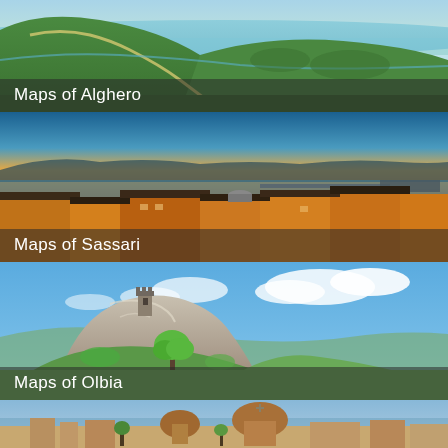[Figure (photo): Aerial view of Alghero coastline with green hills, winding road, and turquoise sea]
Maps of Alghero
[Figure (photo): Sunset panorama of Sassari city rooftops with orange buildings and sea in background]
Maps of Sassari
[Figure (photo): Rocky hillside with ancient tower ruins and green trees under blue sky near Olbia]
Maps of Olbia
[Figure (photo): Aerial cityscape view with church domes and sea in background, fourth Sardinian city]